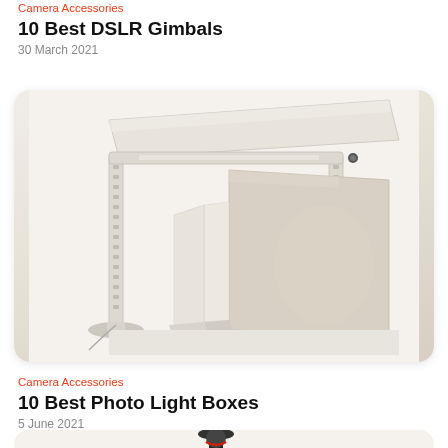Camera Accessories
10 Best DSLR Gimbals
30 March 2021
[Figure (photo): A photo light box studio setup with white metal frame stands and reflective panels/backdrops arranged on a white background]
Camera Accessories
10 Best Photo Light Boxes
5 June 2021
[Figure (photo): Partial view of a camera tripod with ball head, black and red colored, on white background]